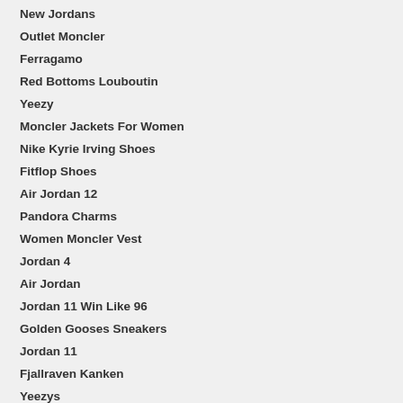New Jordans
Outlet Moncler
Ferragamo
Red Bottoms Louboutin
Yeezy
Moncler Jackets For Women
Nike Kyrie Irving Shoes
Fitflop Shoes
Air Jordan 12
Pandora Charms
Women Moncler Vest
Jordan 4
Air Jordan
Jordan 11 Win Like 96
Golden Gooses Sneakers
Jordan 11
Fjallraven Kanken
Yeezys
Air Jordans
Nike Outlet Store
Moncler Jackets
Jordan 1
Christian Louboutin